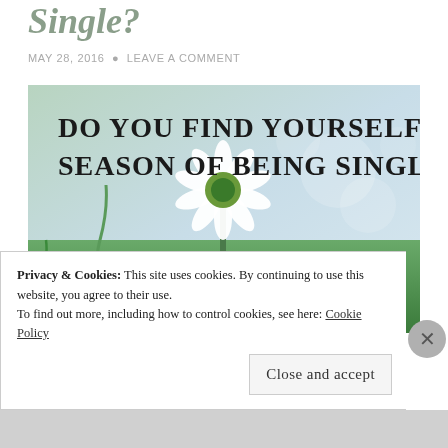Single?
MAY 28, 2016 • LEAVE A COMMENT
[Figure (photo): A photo of white daisies in a green field with bokeh background, overlaid with bold text: 'DO YOU FIND YOURSELF IN A SEASON OF BEING SINGLE?' and a decorative heart icon in the lower right.]
Privacy & Cookies: This site uses cookies. By continuing to use this website, you agree to their use.
To find out more, including how to control cookies, see here: Cookie Policy
Close and accept